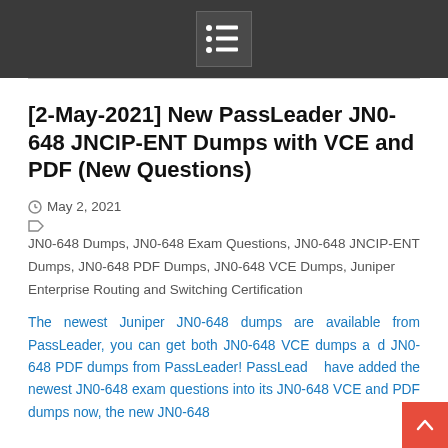[2-May-2021] New PassLeader JN0-648 JNCIP-ENT Dumps with VCE and PDF (New Questions)
May 2, 2021   JN0-648 Dumps, JN0-648 Exam Questions, JN0-648 JNCIP-ENT Dumps, JN0-648 PDF Dumps, JN0-648 VCE Dumps, Juniper Enterprise Routing and Switching Certification
The newest Juniper JN0-648 dumps are available from PassLeader, you can get both JN0-648 VCE dumps and JN0-648 PDF dumps from PassLeader! PassLeader have added the newest JN0-648 exam questions into its JN0-648 VCE and PDF dumps now, the new JN0-648